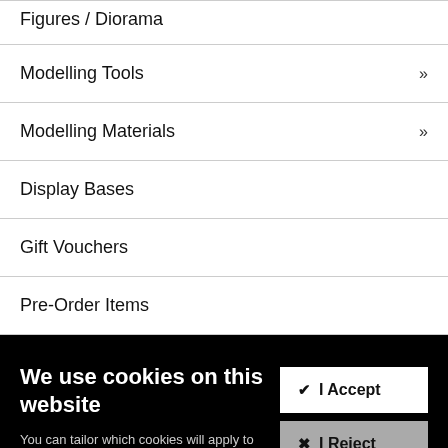Figures / Diorama
Modelling Tools »
Modelling Materials »
Display Bases
Gift Vouchers
Pre-Order Items
We use cookies on this website
You can tailor which cookies will apply to you if you prefer not to allow all our cookies. Find out more in our Cookie Policy.
✔ I Accept
✖ I Reject
⚙ Cookie Settings